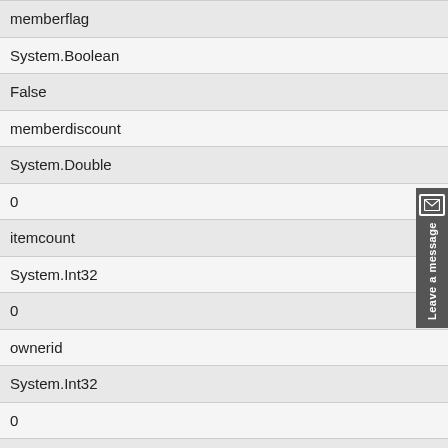| memberflag |
| System.Boolean |
| False |
| memberdiscount |
| System.Double |
| 0 |
| itemcount |
| System.Int32 |
| 0 |
| ownerid |
| System.Int32 |
| 0 |
| orderid |
| System.Int32 |
| 0 |
| storeid |